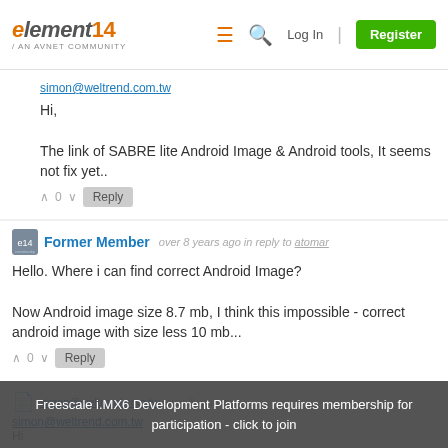element14 / AN AVNET COMMUNITY — Log In | Register
simon@weltrend.com.tw
Hi,

The link of SABRE lite Android Image & Android tools, It seems not fix yet..
Former Member  over 8 years ago in reply to atomar
Hello. Where i can find correct Android Image?

Now Android image size 8.7 mb, I think this impossible - correct android image with size less 10 mb...
Freescale i.MX6 Development Platforms requires membership for participation - click to join
simon@weltrend.com.tw